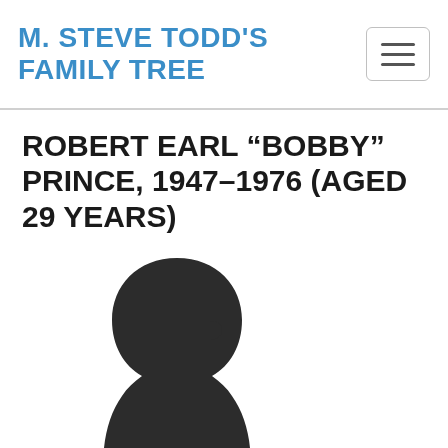M. STEVE TODD'S FAMILY TREE
ROBERT EARL “BOBBY” PRINCE, 1947–1976 (AGED 29 YEARS)
[Figure (illustration): Dark silhouette/placeholder image of a person's head and upper body, facing slightly right, on a white background.]